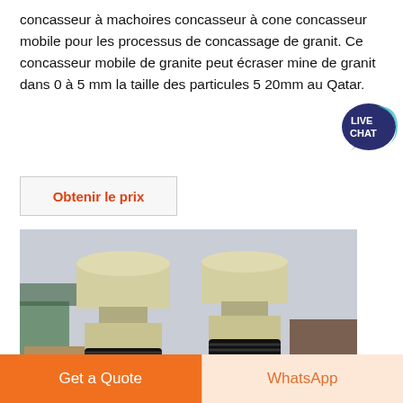concasseur à machoires concasseur à cone concasseur mobile pour les processus de concassage de granit. Ce concasseur mobile de granite peut écraser mine de granit dans 0 à 5 mm la taille des particules 5 20mm au Qatar.
[Figure (logo): Live Chat speech bubble badge in teal/dark blue with text LIVE CHAT]
Obtenir le prix
[Figure (photo): Photo of two large cone crushers (granite crushing machines) with yellow/beige casings, black spring coils, and green motors, outdoors at an industrial site.]
ap granite crusher
Get a Quote
WhatsApp